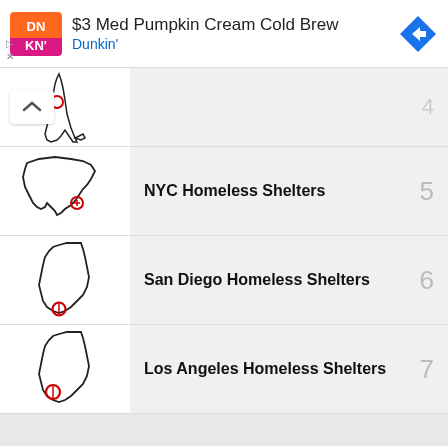[Figure (screenshot): Dunkin' advertisement banner: DNKN logo, '$3 Med Pumpkin Cream Cold Brew', 'Dunkin'' subtitle in blue, blue diamond navigation arrow icon on right]
NYC Homeless Shelters - item 5
San Diego Homeless Shelters - item 6
Los Angeles Homeless Shelters - item 7